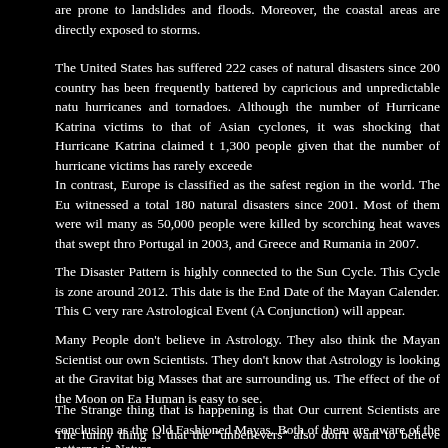are prone to landslides and floods. Moreover, the coastal areas are directly exposed to storms.
The United States has suffered 222 cases of natural disasters since 200 country has been frequently battered by capricious and unpredictable natu hurricanes and tornadoes. Although the number of Hurricane Katrina victims to that of Asian cyclones, it was shocking that Hurricane Katrina claimed t 1,300 people given that the number of hurricane victims has rarely exceede
In contrast, Europe is classified as the safest region in the world. The Eu witnessed a total 180 natural disasters since 2001. Most of them were wil many as 50,000 people were killed by scorching heat waves that swept thro Portugal in 2003, and Greece and Rumania in 2007.
The Disaster Pattern is highly connected to the Sun Cycle. This Cycle is zone around 2012. This date is the End Date of the Mayan Calender. This C very rare Astrological Event (A Conjunction) will appear.
Many People don’t believe in Astrology. They also think the Mayan Scientist our own Scientists. They don’t know that Astrology is looking at the Gravitat big Masses that are surrounding us. The effect of the of the Moon on Ea Human is easy to see.
The Strange thing that is happening is that Our current Scientists are conclusion as the Old Fashioned Mayas. Both of them are aware of the patterns in Nature.
The funny thing is that the “unbelievers” also don’t want to believe Scien